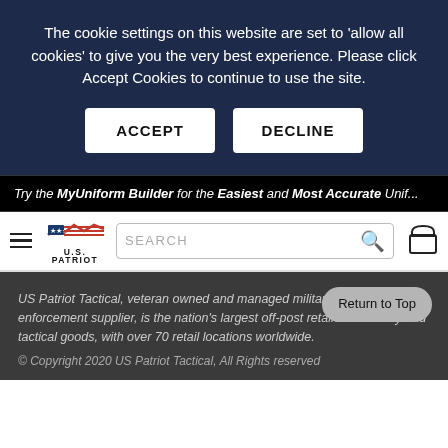The cookie settings on this website are set to 'allow all cookies' to give you the very best experience. Please click Accept Cookies to continue to use the site.
[Figure (screenshot): Cookie consent banner with ACCEPT and DECLINE buttons on dark navy background]
Try the MyUniform Builder for the Easiest and Most Accurate Unif...
[Figure (screenshot): Navigation bar with hamburger menu, US Patriot logo, search bar, and cart icon]
US Patriot Tactical, veteran owned and managed military and law enforcement supplier, is the nation's largest off-post retailer of military and tactical goods, with over 70 retail locations worldwide.
© Copyright 2020 US Patriot Tactical, All Rights reserved